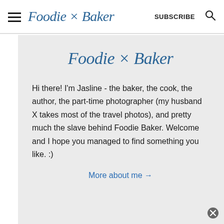Foodie × Baker | SUBSCRIBE
Foodie × Baker
Hi there! I'm Jasline - the baker, the cook, the author, the part-time photographer (my husband X takes most of the travel photos), and pretty much the slave behind Foodie Baker. Welcome and I hope you managed to find something you like. :)
More about me →